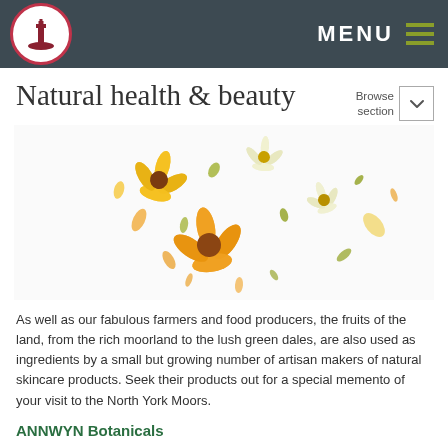MENU
Natural health & beauty
Browse section
[Figure (photo): Scattered dried chamomile and marigold flowers and petals on a white background]
As well as our fabulous farmers and food producers, the fruits of the land, from the rich moorland to the lush green dales, are also used as ingredients by a small but growing number of artisan makers of natural skincare products. Seek their products out for a special memento of your visit to the North York Moors.
ANNWYN Botanicals